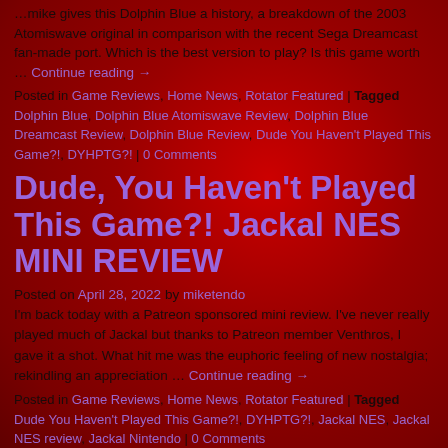…mike gives this Dolphin Blue a history, a breakdown of the 2003 Atomiswave original in comparison with the recent Sega Dreamcast fan-made port. Which is the best version to play? Is this game worth … Continue reading →
Posted in Game Reviews, Home News, Rotator Featured | Tagged Dolphin Blue, Dolphin Blue Atomiswave Review, Dolphin Blue Dreamcast Review, Dolphin Blue Review, Dude You Haven't Played This Game?!, DYHPTG?! | 0 Comments
Dude, You Haven't Played This Game?! Jackal NES MINI REVIEW
Posted on April 28, 2022 by miketendo
I'm back today with a Patreon sponsored mini review. I've never really played much of Jackal but thanks to Patreon member Venthros, I gave it a shot. What hit me was the euphoric feeling of new nostalgia; rekindling an appreciation … Continue reading →
Posted in Game Reviews, Home News, Rotator Featured | Tagged Dude You Haven't Played This Game?!, DYHPTG?!, Jackal NES, Jackal NES review, Jackal Nintendo | 0 Comments
Dude, You Haven't Played…